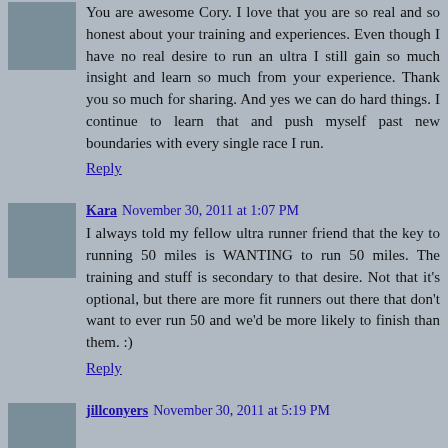You are awesome Cory. I love that you are so real and so honest about your training and experiences. Even though I have no real desire to run an ultra I still gain so much insight and learn so much from your experience. Thank you so much for sharing. And yes we can do hard things. I continue to learn that and push myself past new boundaries with every single race I run.
Reply
Kara November 30, 2011 at 1:07 PM
I always told my fellow ultra runner friend that the key to running 50 miles is WANTING to run 50 miles. The training and stuff is secondary to that desire. Not that it's optional, but there are more fit runners out there that don't want to ever run 50 and we'd be more likely to finish than them. :)
Reply
jillconyers November 30, 2011 at 5:19 PM